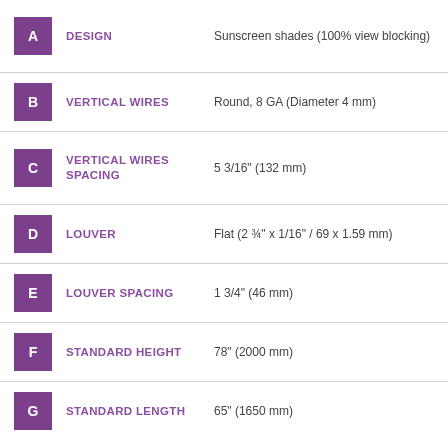A - DESIGN: Sunscreen shades (100% view blocking)
B - VERTICAL WIRES: Round, 8 GA (Diameter 4 mm)
C - VERTICAL WIRES SPACING: 5 3/16" (132 mm)
D - LOUVER: Flat (2 3/4" x 1/16" / 69 x 1.59 mm)
E - LOUVER SPACING: 1 3/4" (46 mm)
F - STANDARD HEIGHT: 78" (2000 mm)
G - STANDARD LENGTH: 65" (1650 mm)